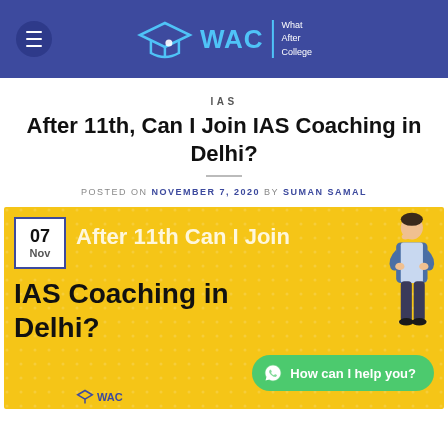WAC | What After College
IAS
After 11th, Can I Join IAS Coaching in Delhi?
POSTED ON NOVEMBER 7, 2020 BY SUMAN SAMAL
[Figure (infographic): Yellow background infographic with date badge '07 Nov', text 'After 11th Can I Join IAS Coaching in Delhi?', a person illustration on the right, a green WhatsApp button 'How can I help you?', and WAC logo at the bottom.]